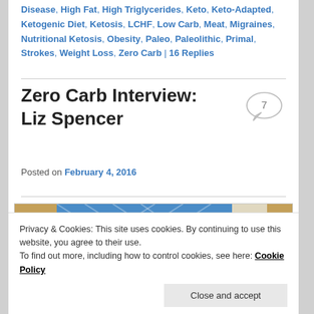Disease, High Fat, High Triglycerides, Keto, Keto-Adapted, Ketogenic Diet, Ketosis, LCHF, Low Carb, Meat, Migraines, Nutritional Ketosis, Obesity, Paleo, Paleolithic, Primal, Strokes, Weight Loss, Zero Carb | 16 Replies
Zero Carb Interview: Liz Spencer
Posted on February 4, 2016
[Figure (photo): Photo of a person with brown hair, seated in front of a stained glass blue window panel on one side and a light-colored wall on the other.]
Privacy & Cookies: This site uses cookies. By continuing to use this website, you agree to their use.
To find out more, including how to control cookies, see here: Cookie Policy
Close and accept